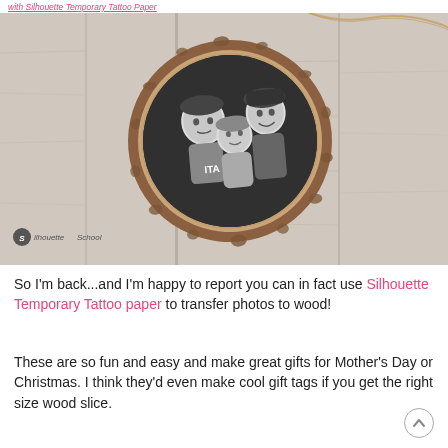with Silhouette Temporary Tattoo Paper
[Figure (photo): A black-and-white photograph of three children (two boys and a girl) printed on a circular wood slice ornament, placed on a weathered white-painted wooden plank surface with a twine string visible. A Silhouette School watermark is in the bottom-left corner.]
So I'm back...and I'm happy to report you can in fact use Silhouette Temporary Tattoo paper to transfer photos to wood!
These are so fun and easy and make great gifts for Mother's Day or Christmas. I think they'd even make cool gift tags if you get the right size wood slice.